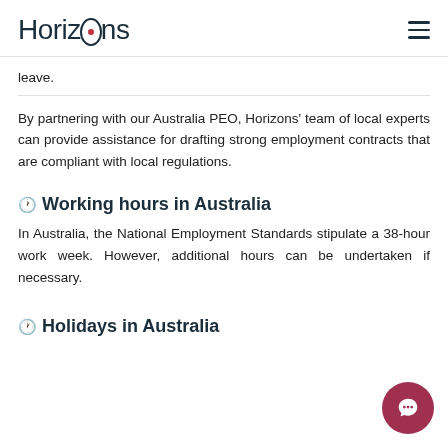Horizons
leave.
By partnering with our Australia PEO, Horizons' team of local experts can provide assistance for drafting strong employment contracts that are compliant with local regulations.
🕐 Working hours in Australia
In Australia, the National Employment Standards stipulate a 38-hour work week. However, additional hours can be undertaken if necessary.
🕐 Holidays in Australia